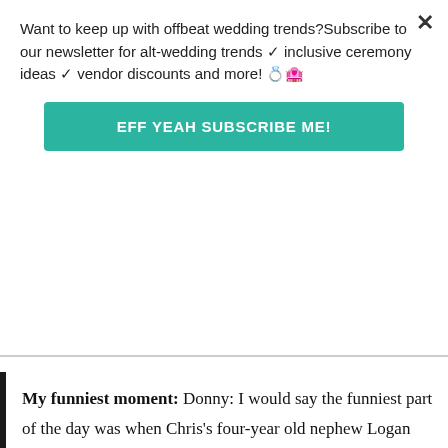Want to keep up with offbeat wedding trends?Subscribe to our newsletter for alt-wedding trends ✦ inclusive ceremony ideas ✦ vendor discounts and more! 💍💒🌈
EFF YEAH SUBSCRIBE ME!
My funniest moment: Donny: I would say the funniest part of the day was when Chris's four-year old nephew Logan decided to use the microphone to make a few impromptu announcements of his own.
Chris: I think it was really funny once people realized what the music was that we marched in to. And the drag act in the evening was hilariously funny. I don't think we ever stopped laughing, even while people were singing.